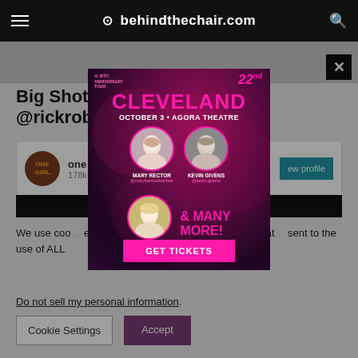behindthechair.com
Big Shot H... onal: @rickrobe...
one... 178k...
We use coo... e most relevant ex... ferences and repeat... sent to the use of ALL...
Do not sell my personal information.
[Figure (illustration): Event advertisement popup for behindthechair.com 22nd Anniversary Tour in Cleveland, October 3 at Agora Theatre, featuring Mary Rector (@marybehindthechair), Kevin Givens (@kevin.givens), Haley Gable (@haleygable), and many more. Pink GET TICKETS button at bottom.]